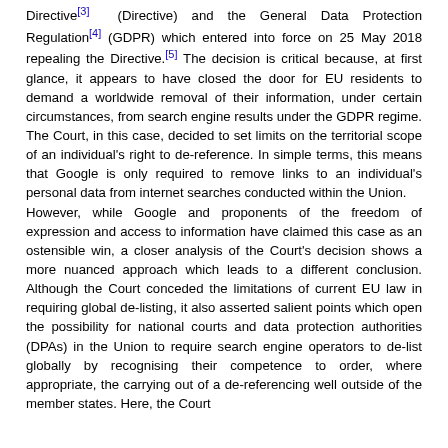Directive[3] (Directive) and the General Data Protection Regulation[4] (GDPR) which entered into force on 25 May 2018 repealing the Directive.[5] The decision is critical because, at first glance, it appears to have closed the door for EU residents to demand a worldwide removal of their information, under certain circumstances, from search engine results under the GDPR regime. The Court, in this case, decided to set limits on the territorial scope of an individual's right to de-reference. In simple terms, this means that Google is only required to remove links to an individual's personal data from internet searches conducted within the Union.
However, while Google and proponents of the freedom of expression and access to information have claimed this case as an ostensible win, a closer analysis of the Court's decision shows a more nuanced approach which leads to a different conclusion. Although the Court conceded the limitations of current EU law in requiring global de-listing, it also asserted salient points which open the possibility for national courts and data protection authorities (DPAs) in the Union to require search engine operators to de-list globally by recognising their competence to order, where appropriate, the carrying out of a de-referencing well outside of the member states. Here, the Court